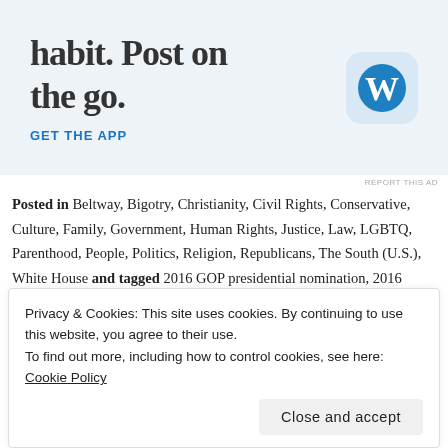[Figure (screenshot): WordPress app advertisement banner showing text 'habit. Post on the go.' with GET THE APP link and WordPress logo icon]
REPORT THIS AD
Posted in Beltway, Bigotry, Christianity, Civil Rights, Conservative, Culture, Family, Government, Human Rights, Justice, Law, LGBTQ, Parenthood, People, Politics, Religion, Republicans, The South (U.S.), White House and tagged 2016 GOP presidential nomination, 2016 Republican presidential nomination, accreditation, American Future Project, anti-gay, Bobby Jindal, Bobby Jindal Show, Buzzfeed,
Privacy & Cookies: This site uses cookies. By continuing to use this website, you agree to their use.
To find out more, including how to control cookies, see here: Cookie Policy
Close and accept